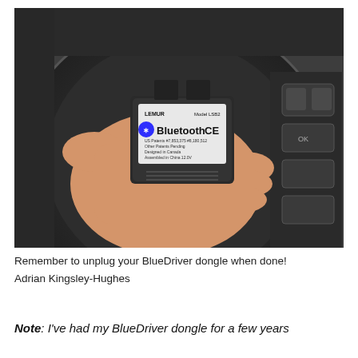[Figure (photo): A hand holding a LEMUR Bluetooth OBD2 dongle (Model LSB2) in front of a car steering wheel. The device shows the Bluetooth logo and CE mark, with text: US Patents #7,853,375 #8,180,512, Other Patents Pending, Designed in Canada, Assembled in China, 12.0V. Car controls are visible in the background.]
Remember to unplug your BlueDriver dongle when done!
Adrian Kingsley-Hughes
Note: I've had my BlueDriver dongle for a few years